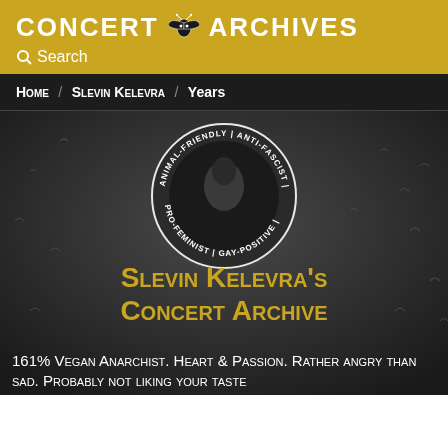CONCERT ARCHIVES
Search
Home / Slevin Kelevra / Years
[Figure (photo): Circular badge/logo for Slevin Kelevra with text around the perimeter reading ANIMAL-FRIENDLY, ANTI-FASCIST, GAY-POSITIVE, PRO-FEMINIST, with an artistic black and white image of a figure inside. Background is a dark moody sky with scattered birds.]
Slevin Kelevra's Concert Archive
161% Vegan Anarchist. Heart & Passion. Rather angry than sad. Probably not liking your taste